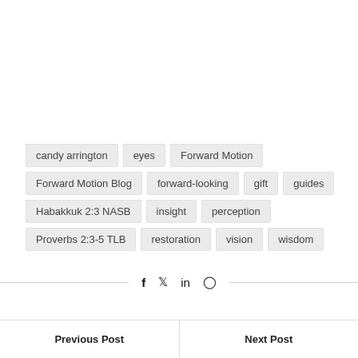candy arrington
eyes
Forward Motion
Forward Motion Blog
forward-looking
gift
guides
Habakkuk 2:3 NASB
insight
perception
Proverbs 2:3-5 TLB
restoration
vision
wisdom
f  🐦  in  ⊕
Previous Post
Next Post